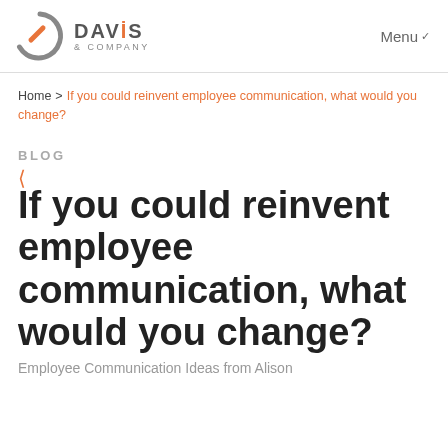Davis & Company | Menu
Home > If you could reinvent employee communication, what would you change?
BLOG
If you could reinvent employee communication, what would you change?
Employee Communication Ideas from Alison